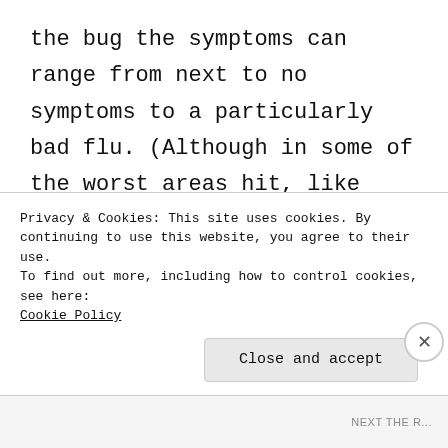the bug the symptoms can range from next to no symptoms to a particularly bad flu. (Although in some of the worst areas hit, like Italy, younger people are starting to become much more ill) The question then turns to what we can do for people who might suffer worse than ourselves if we catch the virus, that's where social distancing comes in. By cutting out unneeded exposure we limit the chance that someone we care about might catch the illness
Privacy & Cookies: This site uses cookies. By continuing to use this website, you agree to their use.
To find out more, including how to control cookies, see here: Cookie Policy
Close and accept